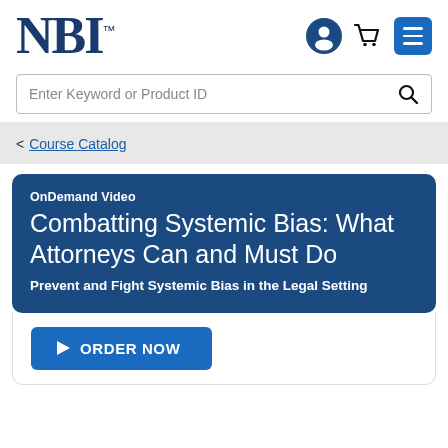[Figure (logo): NBI logo in dark navy blue serif font with TM superscript]
[Figure (screenshot): Header navigation icons: user account circle, shopping cart, and hamburger menu on blue background]
Enter Keyword or Product ID
< Course Catalog
OnDemand Video
Combatting Systemic Bias: What Attorneys Can and Must Do
Prevent and Fight Systemic Bias in the Legal Setting
ORDER NOW